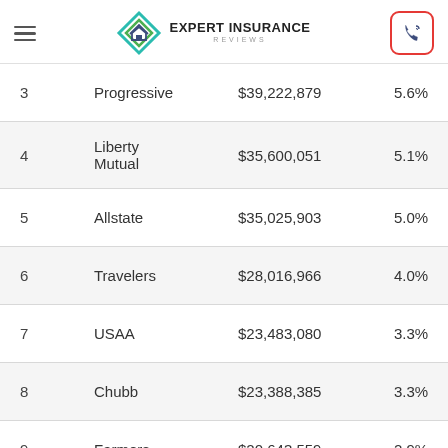Expert Insurance Reviews
| # | Company | Premiums Written | Market Share |
| --- | --- | --- | --- |
| 3 | Progressive | $39,222,879 | 5.6% |
| 4 | Liberty Mutual | $35,600,051 | 5.1% |
| 5 | Allstate | $35,025,903 | 5.0% |
| 6 | Travelers | $28,016,966 | 4.0% |
| 7 | USAA | $23,483,080 | 3.3% |
| 8 | Chubb | $23,388,385 | 3.3% |
| 9 | Farmers | $20,643,559 | 2.9% |